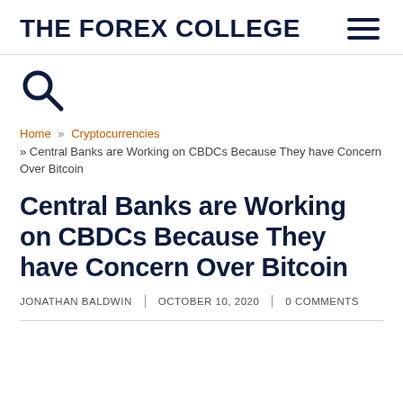THE FOREX COLLEGE
[Figure (other): Search icon (magnifying glass)]
Home » Cryptocurrencies » Central Banks are Working on CBDCs Because They have Concern Over Bitcoin
Central Banks are Working on CBDCs Because They have Concern Over Bitcoin
JONATHAN BALDWIN | OCTOBER 10, 2020 | 0 COMMENTS